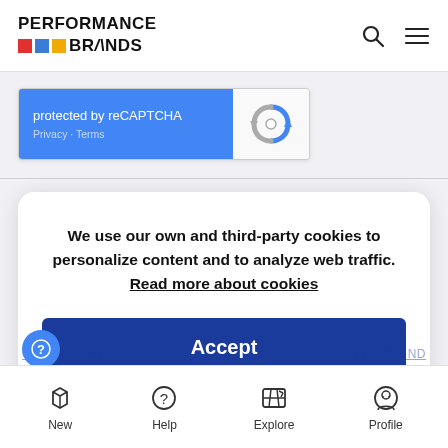[Figure (logo): Performance Brands logo with red, blue, and yellow squares followed by text PERFORMANCE BRANDS]
[Figure (screenshot): reCAPTCHA widget showing 'protected by reCAPTCHA' text with Privacy and Terms links on blue background, and reCAPTCHA logo on right]
We use our own and third-party cookies to personalize content and to analyze web traffic. Read more about cookies
Accept
[Figure (other): Bottom navigation bar with icons for New (tag icon), Help (question mark), Explore (map icon), Profile (face icon)]